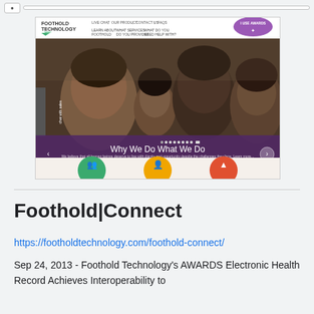[Figure (screenshot): Screenshot of Foothold Technology website showing logo, navigation, a family photo with text 'Why We Do What We Do', and three call-to-action sections: Learn About Foothold, What Services Do You Provide, What Do You Need Help With. Also shows Latest News & Blog section at bottom.]
Foothold|Connect
https://footholdtechnology.com/foothold-connect/
Sep 24, 2013 - Foothold Technology's AWARDS Electronic Health Record Achieves Interoperability to